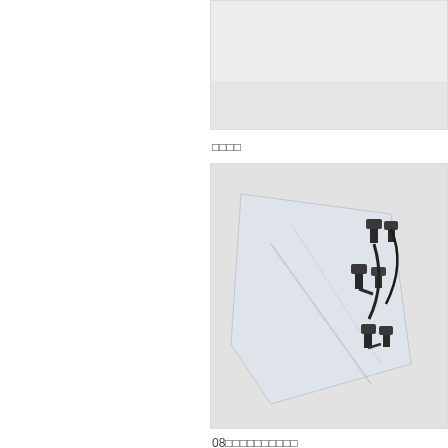[Figure (photo): Partial product image cropped at top, light gray background]
□□□□
[Figure (photo): Photo of small dark metal clips or connectors scattered on a transparent plastic bag on a light gray background]
08□□□□□□□□□□